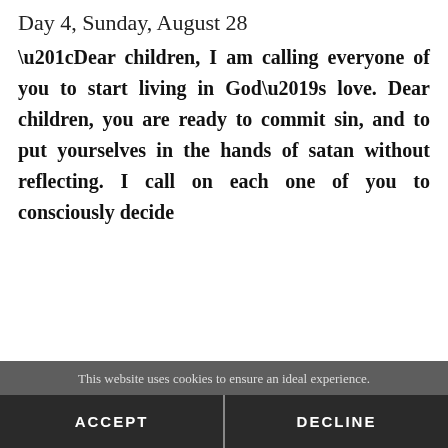Day 4, Sunday, August 28
“Dear children, I am calling everyone of you to start living in God’s love. Dear children, you are ready to commit sin, and to put yourselves in the hands of satan without reflecting. I call on each one of you to consciously decide
This website uses cookies to ensure an ideal experience.
ACCEPT   DECLINE